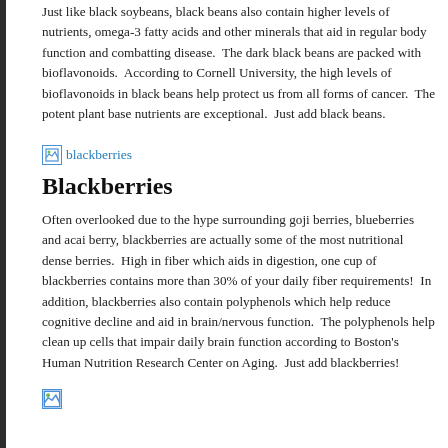Just like black soybeans, black beans also contain higher levels of nutrients, omega-3 fatty acids and other minerals that aid in regular body function and combatting disease.  The dark black beans are packed with bioflavonoids.  According to Cornell University, the high levels of bioflavonoids in black beans help protect us from all forms of cancer.  The potent plant base nutrients are exceptional.  Just add black beans.
[Figure (photo): Image placeholder link labeled 'blackberries']
Blackberries
Often overlooked due to the hype surrounding goji berries, blueberries and acai berry, blackberries are actually some of the most nutritional dense berries.  High in fiber which aids in digestion, one cup of blackberries contains more than 30% of your daily fiber requirements!  In addition, blackberries also contain polyphenols which help reduce cognitive decline and aid in brain/nervous function.  The polyphenols help clean up cells that impair daily brain function according to Boston's Human Nutrition Research Center on Aging.  Just add blackberries!
[Figure (photo): Image placeholder at bottom of page]